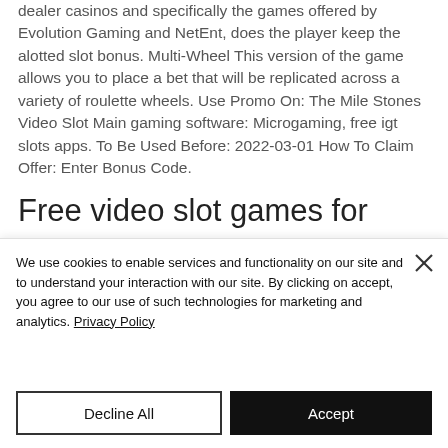dealer casinos and specifically the games offered by Evolution Gaming and NetEnt, does the player keep the alotted slot bonus. Multi-Wheel This version of the game allows you to place a bet that will be replicated across a variety of roulette wheels. Use Promo On: The Mile Stones Video Slot Main gaming software: Microgaming, free igt slots apps. To Be Used Before: 2022-03-01 How To Claim Offer: Enter Bonus Code.
Free video slot games for
We use cookies to enable services and functionality on our site and to understand your interaction with our site. By clicking on accept, you agree to our use of such technologies for marketing and analytics. Privacy Policy
Decline All
Accept
Cookie Policy